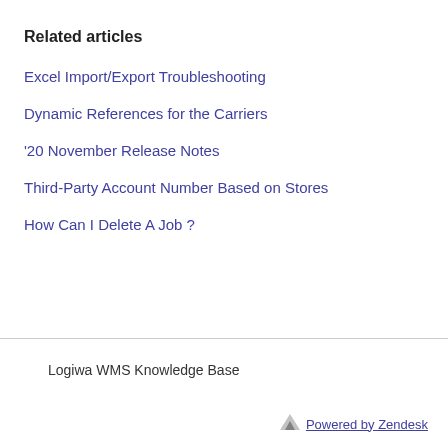Related articles
Excel Import/Export Troubleshooting
Dynamic References for the Carriers
'20 November Release Notes
Third-Party Account Number Based on Stores
How Can I Delete A Job ?
Logiwa WMS Knowledge Base
Powered by Zendesk